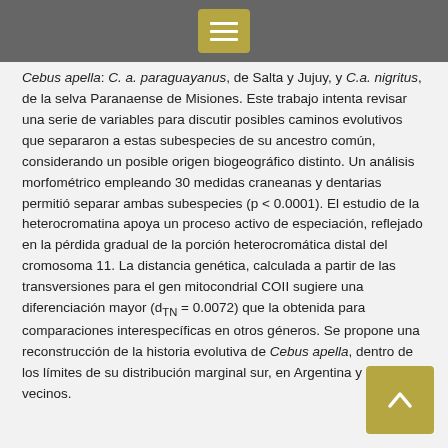[navigation bar with hamburger menu]
Cebus apella: C. a. paraguayanus, de Salta y Jujuy, y C.a. nigritus, de la selva Paranaense de Misiones. Este trabajo intenta revisar una serie de variables para discutir posibles caminos evolutivos que separaron a estas subespecies de su ancestro común, considerando un posible origen biogeográfico distinto. Un análisis morfométrico empleando 30 medidas craneanas y dentarias permitió separar ambas subespecies (p < 0.0001). El estudio de la heterocromatina apoya un proceso activo de especiación, reflejado en la pérdida gradual de la porción heterocromática distal del cromosoma 11. La distancia genética, calculada a partir de las transversiones para el gen mitocondrial COII sugiere una diferenciación mayor (dTN = 0.0072) que la obtenida para comparaciones interespecíficas en otros géneros. Se propone una reconstrucción de la historia evolutiva de Cebus apella, dentro de los límites de su distribución marginal sur, en Argentina y países vecinos.